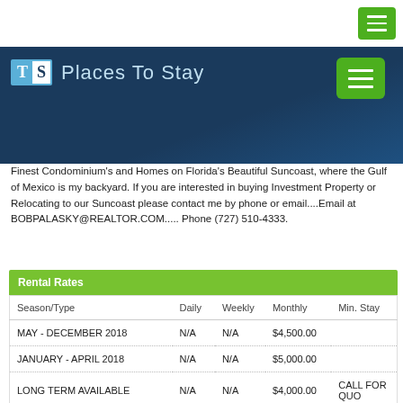[Figure (screenshot): Website header banner with TS Places To Stay logo and blue wave background, green hamburger menu button]
Finest Condominium's and Homes on Florida's Beautiful Suncoast, where the Gulf of Mexico is my backyard. If you are interested in buying Investment Property or Relocating to our Suncoast please contact me by phone or email....Email at BOBPALASKY@REALTOR.COM..... Phone (727) 510-4333.
| Season/Type | Daily | Weekly | Monthly | Min. Stay |
| --- | --- | --- | --- | --- |
| MAY - DECEMBER 2018 | N/A | N/A | $4,500.00 |  |
| JANUARY - APRIL 2018 | N/A | N/A | $5,000.00 |  |
| LONG TERM AVAILABLE | N/A | N/A | $4,000.00 | CALL FOR QUO |
Note: All rates $US Dollars and subject to change.